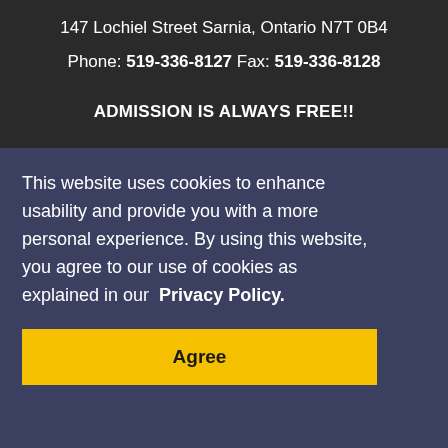147 Lochiel Street Sarnia, Ontario N7T 0B4
Phone: 519-336-8127 Fax: 519-336-8128
ADMISSION IS ALWAYS FREE!!
Monday and Tuesday    Closed to the Public
This website uses cookies to enhance usability and provide you with a more personal experience. By using this website, you agree to our use of cookies as explained in our Privacy Policy.
Agree